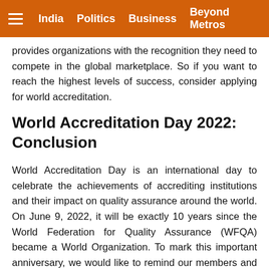India  Politics  Business  Beyond Metros
provides organizations with the recognition they need to compete in the global marketplace. So if you want to reach the highest levels of success, consider applying for world accreditation.
World Accreditation Day 2022: Conclusion
World Accreditation Day is an international day to celebrate the achievements of accrediting institutions and their impact on quality assurance around the world. On June 9, 2022, it will be exactly 10 years since the World Federation for Quality Assurance (WFQA) became a World Organization. To mark this important anniversary, we would like to remind our members and others interested in quality assurance that WFQA plays an essential role in safeguarding global standards and promoting excellence